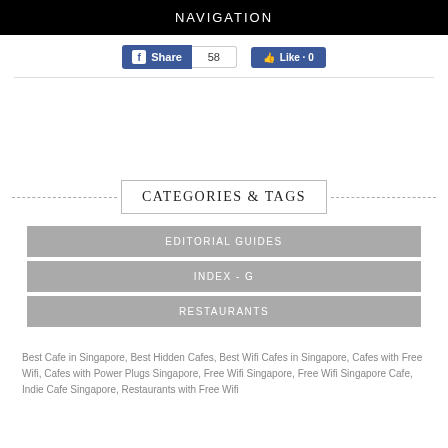NAVIGATION
[Figure (screenshot): Facebook Share button with count 58 and Like button]
CATEGORIES & TAGS
EDITORIAL GUIDES
INDEX - G
RESTAURANTS
Best Cafe in Singapore,  Best Hidden Cafes,  Best Wifi Cafes in Singapore,  Cafes with Free Wifi,  Cafes with Power Plugs Singapore,  Free Wifi Singapore,  Free Wifi Singapore Cafe,  Indie Cafe Singapore,  Restaurants with Free Wifi